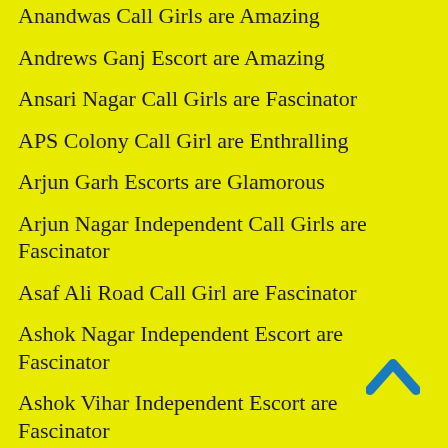Anandwas Call Girls are Amazing
Andrews Ganj Escort are Amazing
Ansari Nagar Call Girls are Fascinator
APS Colony Call Girl are Enthralling
Arjun Garh Escorts are Glamorous
Arjun Nagar Independent Call Girls are Fascinator
Asaf Ali Road Call Girl are Fascinator
Ashok Nagar Independent Escort are Fascinator
Ashok Vihar Independent Escort are Fascinator
Ashoka Park Extension Independent Escort are Excited
Ashram Escort are Excited
Atta Escort are Glamorous
Auchandi Escort are Amazing